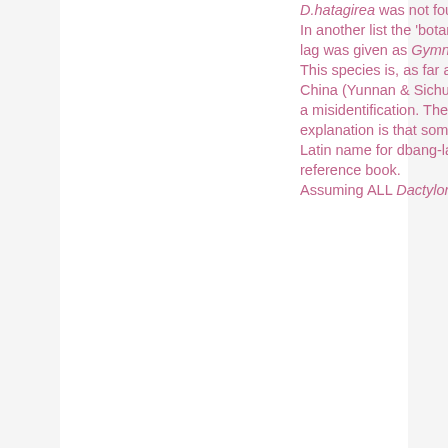D.hatagirea was not found much in Bhutan. In another list the 'botanical name' for dbang-lag was given as Gymnadenia crassinervis. This species is, as far as I know, restricted to China (Yunnan & Sichuan), so is likely to be a misidentification. The most likely explanation is that someone looked up the Latin name for dbang-lag in a Chinese reference book. Assuming ALL Dactylorhiza and